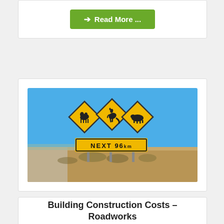➔ Read More ...
[Figure (photo): Australian outback road sign showing three yellow diamond warning signs with silhouettes of a camel, kangaroo, and wombat, with a rectangular sign below reading 'NEXT 96 km', set against a bright blue sky and sandy desert landscape.]
Building Construction Costs – Roadworks